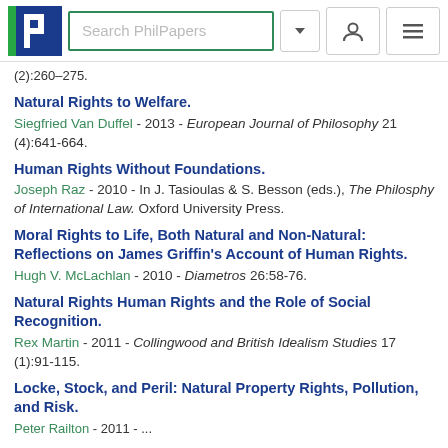[Figure (screenshot): PhilPapers website header with logo, search bar, dropdown arrow, user icon, and menu icon]
(2):260-275.
Natural Rights to Welfare.
Siegfried Van Duffel - 2013 - European Journal of Philosophy 21 (4):641-664.
Human Rights Without Foundations.
Joseph Raz - 2010 - In J. Tasioulas & S. Besson (eds.), The Philosphy of International Law. Oxford University Press.
Moral Rights to Life, Both Natural and Non-Natural: Reflections on James Griffin's Account of Human Rights.
Hugh V. McLachlan - 2010 - Diametros 26:58-76.
Natural Rights Human Rights and the Role of Social Recognition.
Rex Martin - 2011 - Collingwood and British Idealism Studies 17 (1):91-115.
Locke, Stock, and Peril: Natural Property Rights, Pollution, and Risk.
Peter Railton - 2011 - ...